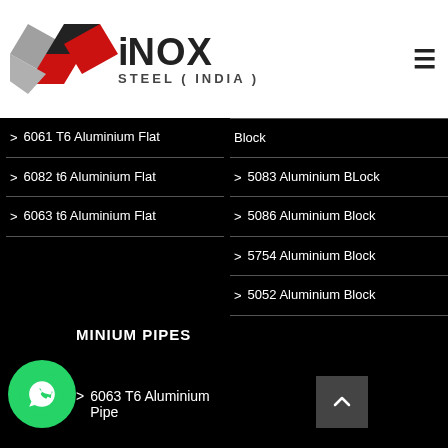[Figure (logo): iNOX Steel (India) logo with geometric diamond shape in grey, black, and red, with iNOX in bold and STEEL (INDIA) below]
6061 T6 Aluminium Flat
6082 t6 Aluminium Flat
6063 t6 Aluminium Flat
Block
5083 Aluminium BLock
5086 Aluminium Block
5754 Aluminium Block
5052 Aluminium Block
ALUMINIUM PIPES
6063 T6 Aluminium Pipe